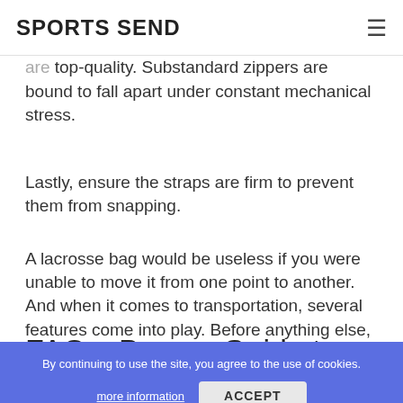SPORTS SEND
the weight of your load. Make sure the teeth, reinforcement tape, and slider of your zippers are top-quality. Substandard zippers are bound to fall apart under constant mechanical stress.
Lastly, ensure the straps are firm to prevent them from snapping.
A lacrosse bag would be useless if you were unable to move it from one point to another. And when it comes to transportation, several features come into play. Before anything else, see to it that the handles are strong and the right fit for your hand. Also, go for padded straps to protect your shoulders from soreness. For wheeled bags, confirm that the wheels are intact and roll smoothly.
By continuing to use the site, you agree to the use of cookies.
FAQs: Buyers Guide to the Best